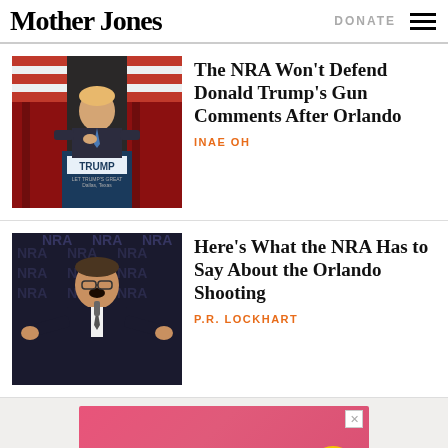Mother Jones | DONATE
[Figure (photo): Donald Trump speaking at a podium with a 'TRUMP' sign, Dallas, Texas, with American flags in background]
The NRA Won't Defend Donald Trump's Gun Comments After Orlando
INAE OH
[Figure (photo): Man in suit speaking at NRA event with NRA logos repeated in background, arms outstretched]
Here's What the NRA Has to Say About the Orlando Shooting
P.R. LOCKHART
[Figure (other): Advertisement banner: Earn money by sharing, pink/red background with gold coin icon]